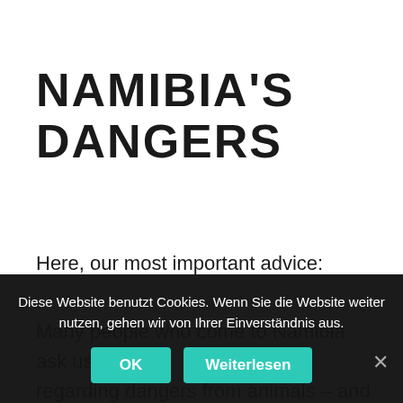NAMIBIA'S DANGERS
Here, our most important advice:
Many people who come to Namibia ask us regarding dangers from animals – and yes you should be cautious, look for
Diese Website benutzt Cookies. Wenn Sie die Website weiter nutzen, gehen wir von Ihrer Einverständnis aus.